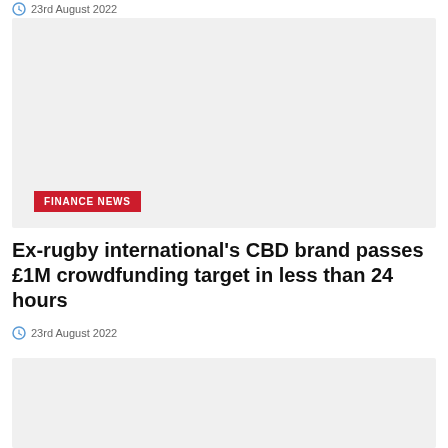23rd August 2022
[Figure (photo): Placeholder image box (light grey) with FINANCE NEWS badge]
Ex-rugby international’s CBD brand passes £1M crowdfunding target in less than 24 hours
23rd August 2022
[Figure (photo): Second placeholder image box (light grey)]